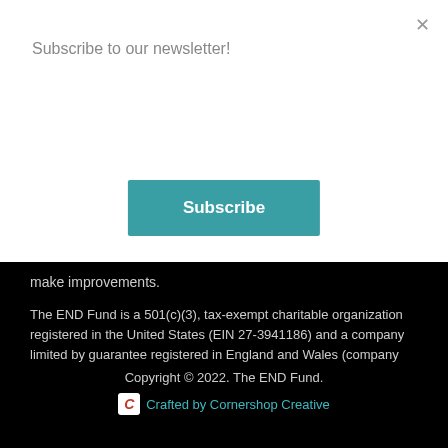Subscribe to our newsletter!
Subscribe
make improvements.
The END Fund is a 501(c)(3), tax-exempt charitable organization registered in the United States (EIN 27-3941186) and a company limited by guarantee registered in England and Wales (company number 6350698) and a UK registered charity (number 1122574).
Copyright © 2022. The END Fund.
Crafted by Cornershop Creative